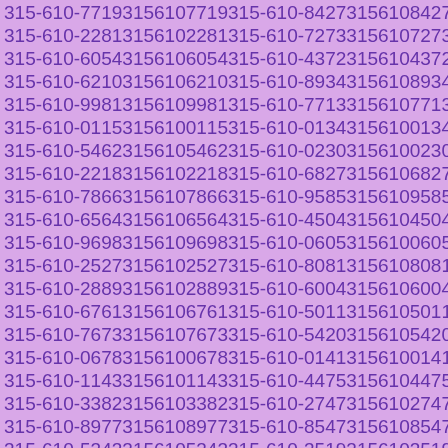315-610-7719 3156107719 315-610-8427 3156108427
315-610-2281 3156102281 315-610-7273 3156107273
315-610-6054 3156106054 315-610-4372 3156104372
315-610-6210 3156106210 315-610-8934 3156108934
315-610-9981 3156109981 315-610-7713 3156107713
315-610-0115 3156100115 315-610-0134 3156100134
315-610-5462 3156105462 315-610-0230 3156100230
315-610-2218 3156102218 315-610-6827 3156106827
315-610-7866 3156107866 315-610-9585 3156109585
315-610-6564 3156106564 315-610-4504 3156104504
315-610-9698 3156109698 315-610-0605 3156100605
315-610-2527 3156102527 315-610-8081 3156108081
315-610-2889 3156102889 315-610-6004 3156106004
315-610-6761 3156106761 315-610-5011 3156105011
315-610-7673 3156107673 315-610-5420 3156105420
315-610-0678 3156100678 315-610-0141 3156100141
315-610-1143 3156101143 315-610-4475 3156104475
315-610-3382 3156103382 315-610-2747 3156102747
315-610-8977 3156108977 315-610-8547 3156108547
315-610-5343 3156105343 315-610-3519 3156103519
315-610-6588 3156106588 315-610-9988 3156109988